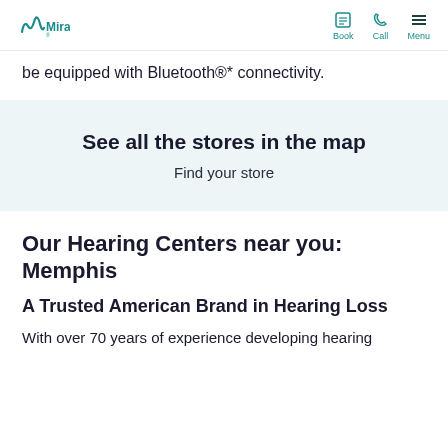Miracle-Ear | Book | Call | Menu
be equipped with Bluetooth®* connectivity.
See all the stores in the map
Find your store
Our Hearing Centers near you: Memphis
A Trusted American Brand in Hearing Loss
With over 70 years of experience developing hearing